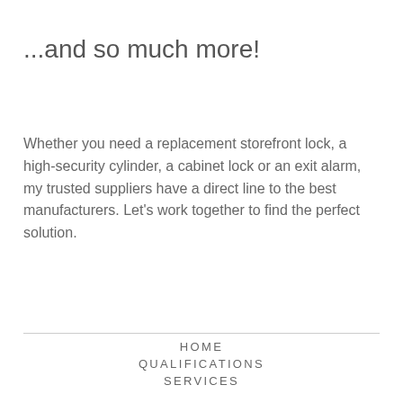...and so much more!
Whether you need a replacement storefront lock, a high-security cylinder, a cabinet lock or an exit alarm, my trusted suppliers have a direct line to the best manufacturers. Let's work together to find the perfect solution.
HOME
QUALIFICATIONS
SERVICES